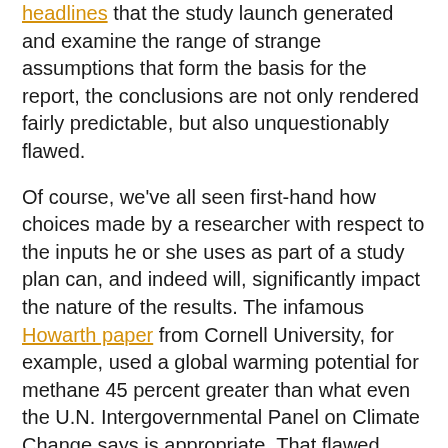headlines that the study launch generated and examine the range of strange assumptions that form the basis for the report, the conclusions are not only rendered fairly predictable, but also unquestionably flawed.
Of course, we've all seen first-hand how choices made by a researcher with respect to the inputs he or she uses as part of a study plan can, and indeed will, significantly impact the nature of the results. The infamous Howarth paper from Cornell University, for example, used a global warming potential for methane 45 percent greater than what even the U.N. Intergovernmental Panel on Climate Change says is appropriate. That flawed input, along with the casual use of "inflated leakage" rates, served as the central basis for its deeply flawed (and widely debunked) conclusions.
In some ways, the inputs used by the CSPH researchers are even more egregious than